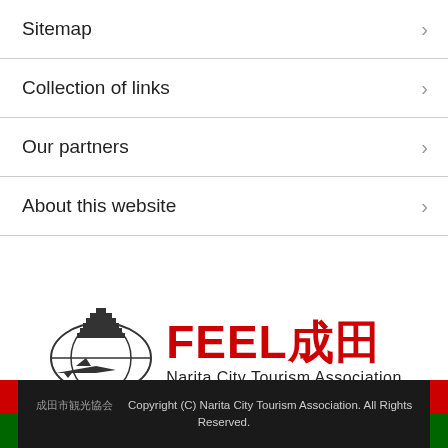Sitemap
Collection of links
Our partners
About this website
[Figure (logo): FEEL成田 Narita City Tourism Association logo with pagoda and globe illustration]
About Narita City Tourism Association
Contact us
成田市観光協会  Copyright (C) Narita City Tourism Association. All Rights Reserved.